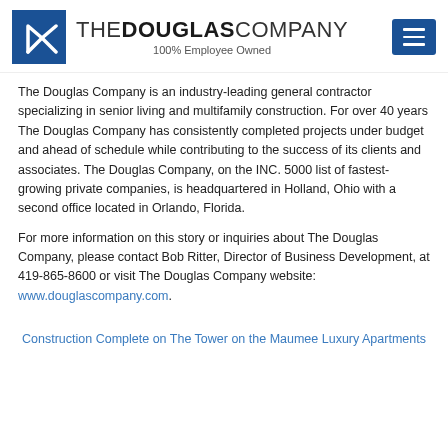[Figure (logo): The Douglas Company logo with blue square icon and text 'THE DOUGLAS COMPANY 100% Employee Owned', plus a blue hamburger menu button on the right]
The Douglas Company is an industry-leading general contractor specializing in senior living and multifamily construction. For over 40 years The Douglas Company has consistently completed projects under budget and ahead of schedule while contributing to the success of its clients and associates. The Douglas Company, on the INC. 5000 list of fastest-growing private companies, is headquartered in Holland, Ohio with a second office located in Orlando, Florida.
For more information on this story or inquiries about The Douglas Company, please contact Bob Ritter, Director of Business Development, at 419-865-8600 or visit The Douglas Company website: www.douglascompany.com.
Construction Complete on The Tower on the Maumee Luxury Apartments